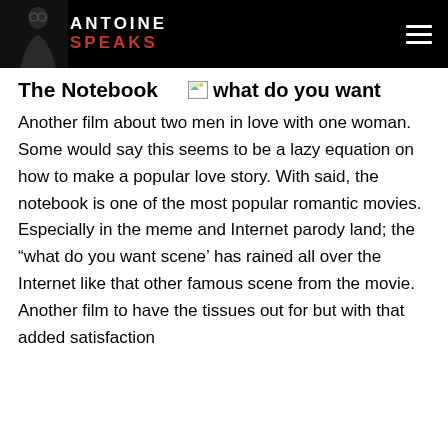ANTOINE SPEAKS
The Notebook
[Figure (illustration): Broken image placeholder with text 'what do you want']
Another film about two men in love with one woman. Some would say this seems to be a lazy equation on how to make a popular love story. With said, the notebook is one of the most popular romantic movies. Especially in the meme and Internet parody land; the “what do you want scene’ has rained all over the Internet like that other famous scene from the movie. Another film to have the tissues out for but with that added satisfaction